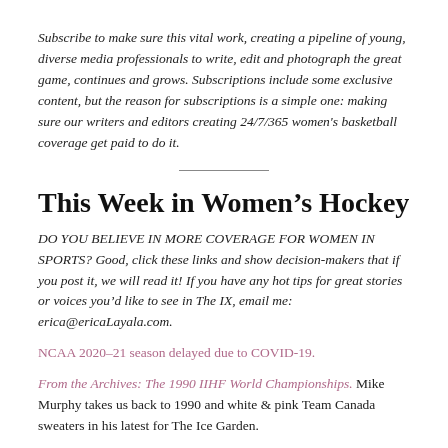Subscribe to make sure this vital work, creating a pipeline of young, diverse media professionals to write, edit and photograph the great game, continues and grows. Subscriptions include some exclusive content, but the reason for subscriptions is a simple one: making sure our writers and editors creating 24/7/365 women's basketball coverage get paid to do it.
This Week in Women's Hockey
DO YOU BELIEVE IN MORE COVERAGE FOR WOMEN IN SPORTS? Good, click these links and show decision-makers that if you post it, we will read it! If you have any hot tips for great stories or voices you'd like to see in The IX, email me: erica@ericaLayala.com.
NCAA 2020–21 season delayed due to COVID-19.
From the Archives: The 1990 IIHF World Championships. Mike Murphy takes us back to 1990 and white & pink Team Canada sweaters in his latest for The Ice Garden.